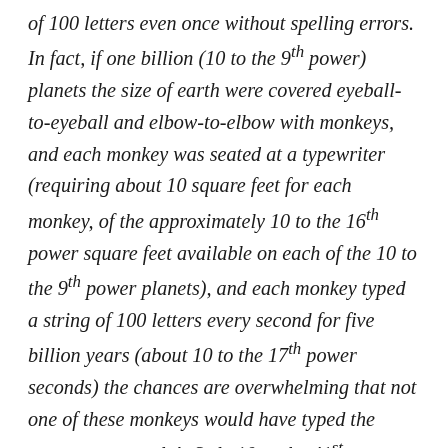of 100 letters even once without spelling errors. In fact, if one billion (10 to the 9th power) planets the size of earth were covered eyeball-to-eyeball and elbow-to-elbow with monkeys, and each monkey was seated at a typewriter (requiring about 10 square feet for each monkey, of the approximately 10 to the 16th power square feet available on each of the 10 to the 9th power planets), and each monkey typed a string of 100 letters every second for five billion years (about 10 to the 17th power seconds) the chances are overwhelming that not one of these monkeys would have typed the sentence correctly!  Only 10 to the 41st power tries could be made by all these monkeys in that